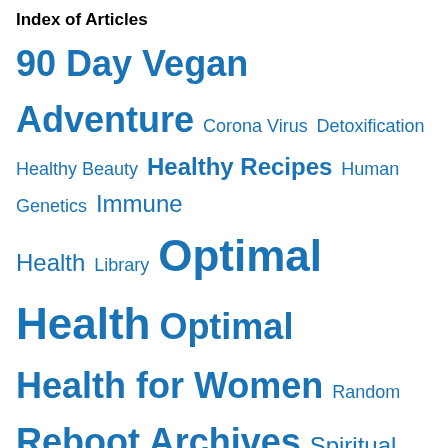Index of Articles
90 Day Vegan Adventure  Corona Virus  Detoxification  Healthy Beauty  Healthy Recipes  Human Genetics  Immune Health  Library  Optimal Health  Optimal Health for Women  Random  Reboot Archives  Spiritual Health  Updates
Monthly Archives
Privacy & Cookies: This site uses cookies. By continuing to use this website, you agree to their use.
To find out more, including how to control cookies, see here: Cookie Policy